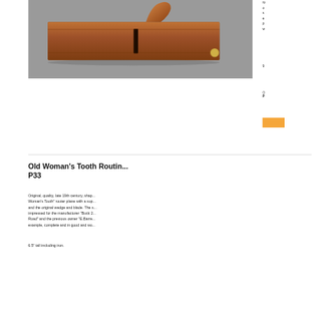[Figure (photo): A wooden router plane (Old Woman's Tooth style) photographed on a grey background, showing a flat rectangular wooden body with a central blade slot, a curved handle at top, and a small coin for scale.]
ro o s e p w 9 O P
Old Woman's Tooth Router Plane P33
Original, quality, late 19th century, shap Woman's Tooth" router plane with a sup and the original wedge and blade. The s impressed for the manufacturer "Buck 2 Road" and the previous owner "E.Barre example, complete and in good and wo
6.5" tall including iron.